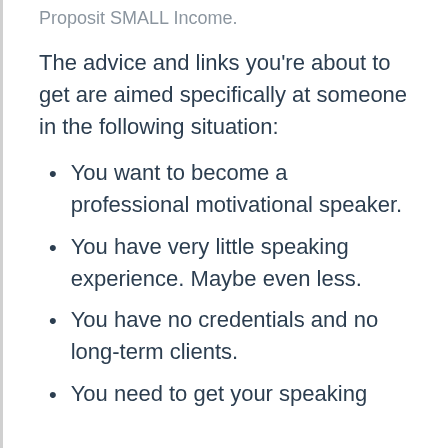Proposit SMALL Income.
The advice and links you're about to get are aimed specifically at someone in the following situation:
You want to become a professional motivational speaker.
You have very little speaking experience. Maybe even less.
You have no credentials and no long-term clients.
You need to get your speaking